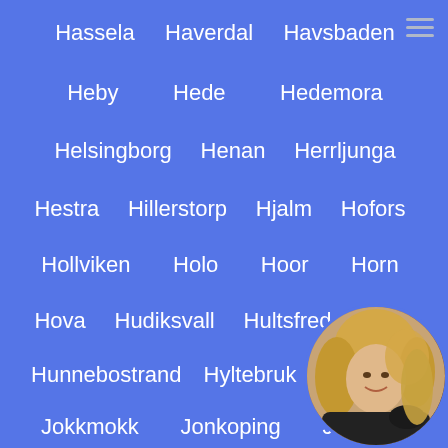Hassela   Haverdal   Havsbaden
Heby   Hede   Hedemora
Helsingborg   Henan   Herrljunga
Hestra   Hillerstorp   Hjalm   Hofors
Hollviken   Holo   Hoor   Horn
Hova   Hudiksvall   Hultsfred   Hulu
Hunnebostrand   Hyltebruk   Iggesund
Jokkmokk   Jonkoping   Jons...
Jukkasjarvi   Jung   Jung...
Junsele   Kalmar   Karlsb...
[Figure (photo): Circular avatar image of a blonde woman in a black outfit, positioned in the bottom-right corner]